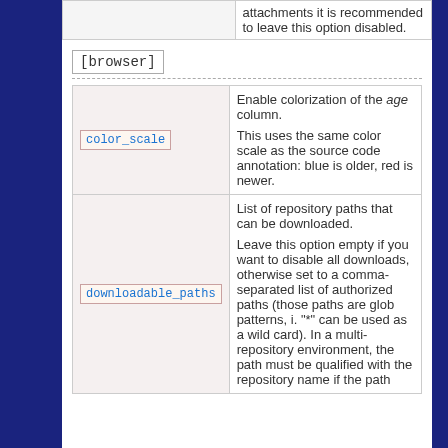|  |  |
| --- | --- |
|  | attachments it is recommended to leave this option disabled. |
[browser]
|  |  |
| --- | --- |
| color_scale | Enable colorization of the age column.
This uses the same color scale as the source code annotation: blue is older, red is newer. |
| downloadable_paths | List of repository paths that can be downloaded.
Leave this option empty if you want to disable all downloads, otherwise set to a comma-separated list of authorized paths (those paths are glob patterns, i. "*" can be used as a wild card). In a multi-repository environment, the path must be qualified with the repository name if the path does not exist. |